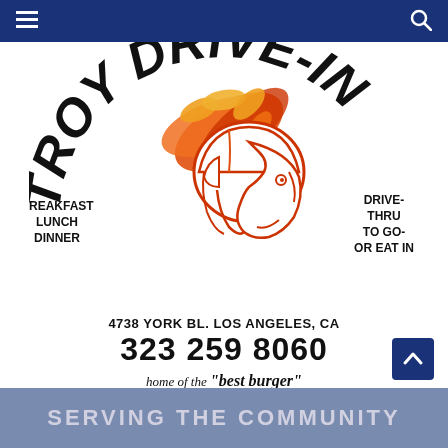Navigation bar with menu icon and search icon
[Figure (logo): Troy Drive-In restaurant logo showing a Trojan warrior helmet mascot in orange/red with the text 'TROY DRIVE-IN' arched above. Left side lists BREAKFAST, LUNCH, DINNER. Right side lists DRIVE-THRU, TO GO-, OR EAT IN.]
4738 YORK BL. LOS ANGELES, CA
323 259 8060
home of the "best burger" by Boulevard Sentinel - January 2006
SERVING THE COMMUNITY